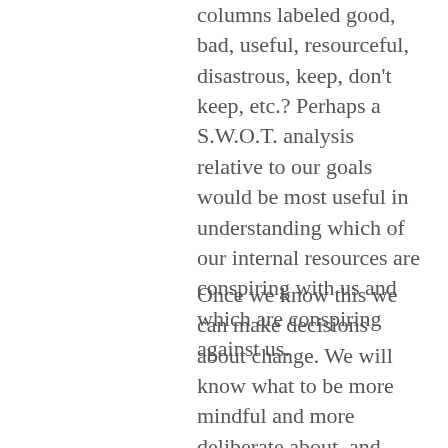columns labeled good, bad, useful, resourceful, disastrous, keep, don't keep, etc.? Perhaps a S.W.O.T. analysis relative to our goals would be most useful in understanding which of our internal resources are conspiring with us and which are conspiring against us.
Once we know this we can make decisions about change. We will know what to be more mindful and more deliberate about, and what to leave to habit. Vanquishing counter-productivity will not be the only result. With habits that serve us we may very well discover new opportunities and fortunes previously unimagined. A small